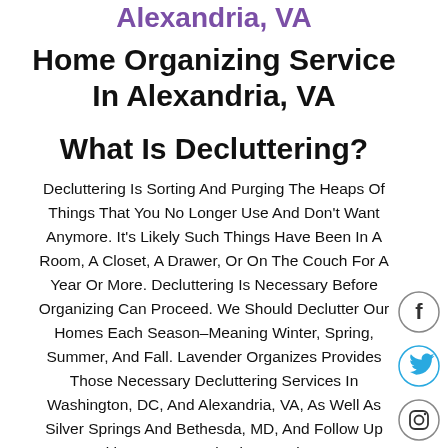Alexandria, VA
Home Organizing Service In Alexandria, VA
What Is Decluttering?
Decluttering Is Sorting And Purging The Heaps Of Things That You No Longer Use And Don't Want Anymore. It's Likely Such Things Have Been In A Room, A Closet, A Drawer, Or On The Couch For A Year Or More. Decluttering Is Necessary Before Organizing Can Proceed. We Should Declutter Our Homes Each Season–Meaning Winter, Spring, Summer, And Fall. Lavender Organizes Provides Those Necessary Decluttering Services In Washington, DC, And Alexandria, VA, As Well As Silver Springs And Bethesda, MD, And Follow Up With Home Organization Services...
[Figure (infographic): Social media icons: Facebook (f), Twitter (bird), Instagram (camera) in circular outlines on the right side of the page]